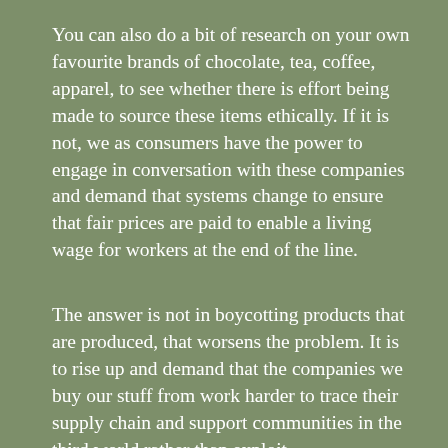You can also do a bit of research on your own favourite brands of chocolate, tea, coffee, apparel, to see whether there is effort being made to source these items ethically. If it is not, we as consumers have the power to engage in conversation with these companies and demand that systems change to ensure that fair prices are paid to enable a living wage for workers at the end of the line.
The answer is not in boycotting products that are produced, that worsens the problem. It is to rise up and demand that the companies we buy our stuff from work harder to trace their supply chain and support communities in the third world rather than exploit